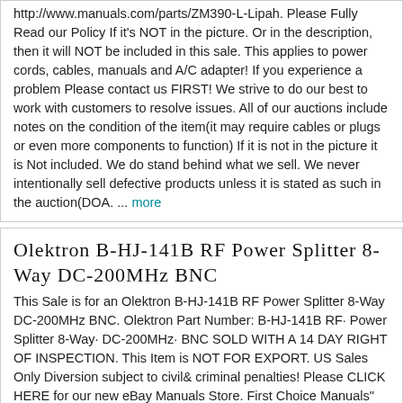http://www.manuals.com/parts/ZM390-L-Lipah. Please Fully Read our Policy If it's NOT in the picture. Or in the description, then it will NOT be included in this sale. This applies to power cords, cables, manuals and A/C adapter! If you experience a problem Please contact us FIRST! We strive to do our best to work with customers to resolve issues. All of our auctions include notes on the condition of the item(it may require cables or plugs or even more components to function) If it is not in the picture it is Not included. We do stand behind what we sell. We never intentionally sell defective products unless it is stated as such in the auction(DOA. ... more
Olektron B-HJ-141B RF Power Splitter 8-Way DC-200MHz BNC
This Sale is for an Olektron B-HJ-141B RF Power Splitter 8-Way DC-200MHz BNC. Olektron Part Number: B-HJ-141B RF· Power Splitter 8-Way· DC-200MHz· BNC SOLD WITH A 14 DAY RIGHT OF INSPECTION. This Item is NOT FOR EXPORT. US Sales Only Diversion subject to civil& criminal penalties! Please CLICK HERE for our new eBay Manuals Store. First Choice Manuals" Terms& Conditions Emails Please use Ebay's Message System to communicate with us. Ebay's message center provides for the most effective communication. Emails sent directly can be overlooked or filtered by our server which only causes frustration to all parties. Answering Questions Avitar's business hours are Monday through Friday from 9:00 a.m. 5:00 p.m. Eastern Standard time. We will answer questions during those hours prior to the end of the auctions. Questions ... more
Olektron B-HJ-304V RF Power Splitter 4-Way DC-200MHz BNC